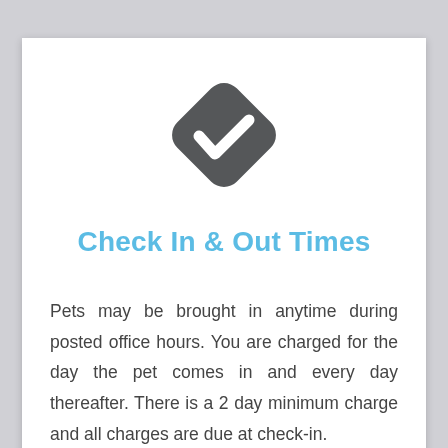[Figure (logo): Dark grey rounded diamond/rhombus shape with a white checkmark inside]
Check In & Out Times
Pets may be brought in anytime during posted office hours. You are charged for the day the pet comes in and every day thereafter. There is a 2 day minimum charge and all charges are due at check-in.